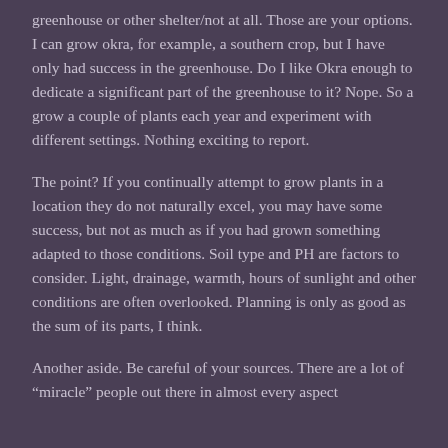greenhouse or other shelter/not at all.  Those are your options.  I can grow okra, for example, a southern crop, but I have only had success in the greenhouse.  Do I like Okra enough to dedicate a significant part of the greenhouse to it?  Nope.  So a grow a couple of plants each year and experiment with different settings.  Nothing exciting to report.
The point?  If you continually attempt to grow plants in a location they do not naturally excel, you may have some success, but not as much as if you had grown something adapted to those conditions.  Soil type and PH are factors to consider.  Light, drainage, warmth, hours of sunlight and other conditions are often overlooked.  Planning is only as good as the sum of its parts, I think.
Another aside.  Be careful of your sources.  There are a lot of “miracle” people out there in almost every aspect